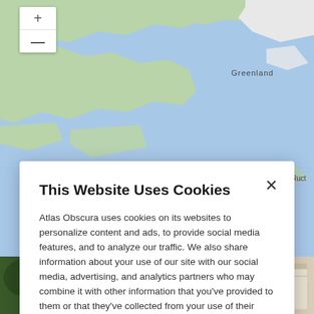[Figure (map): Google Maps view showing northern Canada, Greenland, and Iceland with blue ocean and green/white landmasses. Labels include 'Greenland', 'Iceland', and partial text 'Ruct' on the right edge.]
[Figure (photo): Left photo showing green foliage/trees with some signage boards visible]
[Figure (photo): Right photo showing white architectural structure with arched openings]
This Website Uses Cookies
Atlas Obscura uses cookies on its websites to personalize content and ads, to provide social media features, and to analyze our traffic. We also share information about your use of our site with our social media, advertising, and analytics partners who may combine it with other information that you've provided to them or that they've collected from your use of their services. By clicking "Accept Cookies", you are consenting to use of cookies as described in our Cookie Policy. View Cookie Policy
Manage Preferences
Allow Cookies